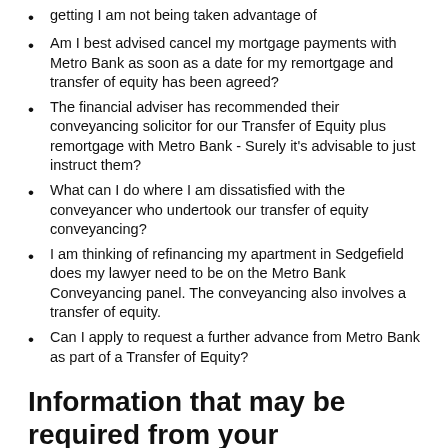getting I am not being taken advantage of
Am I best advised cancel my mortgage payments with Metro Bank as soon as a date for my remortgage and transfer of equity has been agreed?
The financial adviser has recommended their conveyancing solicitor for our Transfer of Equity plus remortgage with Metro Bank - Surely it's advisable to just instruct them?
What can I do where I am dissatisfied with the conveyancer who undertook our transfer of equity conveyancing?
I am thinking of refinancing my apartment in Sedgefield does my lawyer need to be on the Metro Bank Conveyancing panel. The conveyancing also involves a transfer of equity.
Can I apply to request a further advance from Metro Bank as part of a Transfer of Equity?
Information that may be required from your conveyancing solicitor may ask about your Metro Bank Transfer of Equity